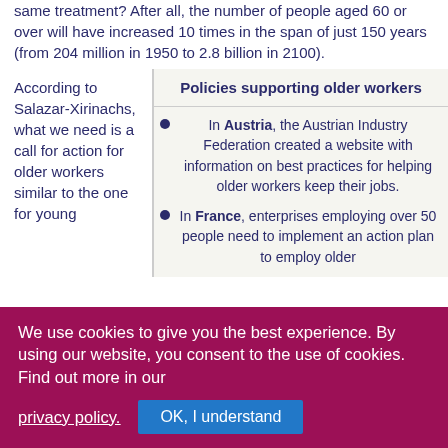same treatment? After all, the number of people aged 60 or over will have increased 10 times in the span of just 150 years (from 204 million in 1950 to 2.8 billion in 2100).
According to Salazar-Xirinachs, what we need is a call for action for older workers similar to the one for young
Policies supporting older workers
In Austria, the Austrian Industry Federation created a website with information on best practices for helping older workers keep their jobs.
In France, enterprises employing over 50 people need to implement an action plan to employ older
We use cookies to give you the best experience. By using our website, you consent to the use of cookies. Find out more in our privacy policy.